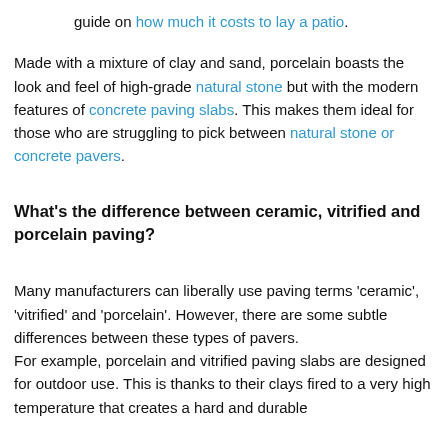For information on the cost of laying paving, read our guide on how much it costs to lay a patio.
Made with a mixture of clay and sand, porcelain boasts the look and feel of high-grade natural stone but with the modern features of concrete paving slabs. This makes them ideal for those who are struggling to pick between natural stone or concrete pavers.
What's the difference between ceramic, vitrified and porcelain paving?
Many manufacturers can liberally use paving terms 'ceramic', 'vitrified' and 'porcelain'. However, there are some subtle differences between these types of pavers. For example, porcelain and vitrified paving slabs are designed for outdoor use. This is thanks to their clays fired to a very high temperature that creates a hard and durable